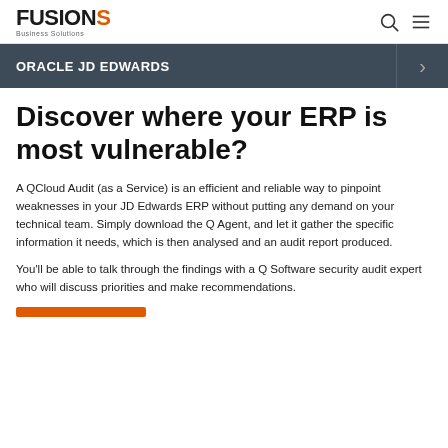FUSIONS Business Solutions
ORACLE JD EDWARDS
Discover where your ERP is most vulnerable?
A QCloud Audit (as a Service) is an efficient and reliable way to pinpoint weaknesses in your JD Edwards ERP without putting any demand on your technical team. Simply download the Q Agent, and let it gather the specific information it needs, which is then analysed and an audit report produced.
You'll be able to talk through the findings with a Q Software security audit expert who will discuss priorities and make recommendations.